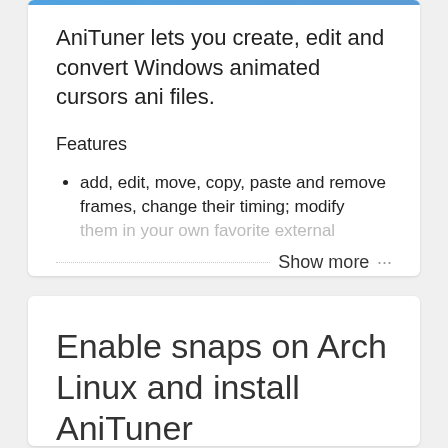AniTuner lets you create, edit and convert Windows animated cursors ani files.
Features
add, edit, move, copy, paste and remove frames, change their timing; modify them in your own favorite external
Show more
Enable snaps on Arch Linux and install AniTuner